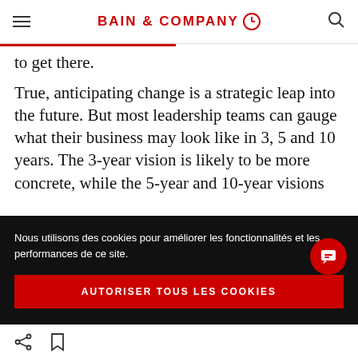BAIN & COMPANY
to get there.
True, anticipating change is a strategic leap into the future. But most leadership teams can gauge what their business may look like in 3, 5 and 10 years. The 3-year vision is likely to be more concrete, while the 5-year and 10-year visions
Nous utilisons des cookies pour améliorer les fonctionnalités et les performances de ce site.
AUTORISER TOUS LES COOKIES